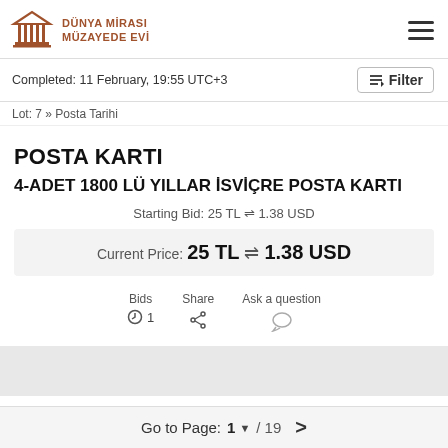Dünya Mirası Müzayede Evi
Completed: 11 February, 19:55 UTC+3
Lot: 7 » Posta Tarihi
POSTA KARTI
4-ADET 1800 LÜ YILLAR İSVİÇRE POSTA KARTI
Starting Bid: 25 TL ⇌ 1.38 USD
Current Price: 25 TL ⇌ 1.38 USD
Bids 1   Share   Ask a question
Go to Page: 1 ▼ / 19  >